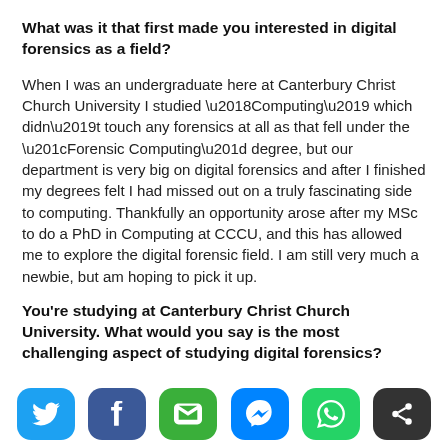What was it that first made you interested in digital forensics as a field?
When I was an undergraduate here at Canterbury Christ Church University I studied ‘Computing’ which didn’t touch any forensics at all as that fell under the “Forensic Computing” degree, but our department is very big on digital forensics and after I finished my degrees felt I had missed out on a truly fascinating side to computing. Thankfully an opportunity arose after my MSc to do a PhD in Computing at CCCU, and this has allowed me to explore the digital forensic field. I am still very much a newbie, but am hoping to pick it up.
You're studying at Canterbury Christ Church University. What would you say is the most challenging aspect of studying digital forensics?
The most challenging aspect is not knowing much about the